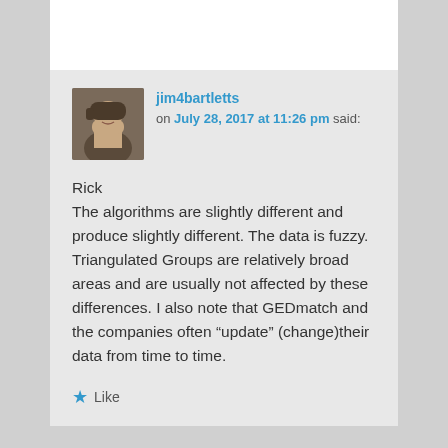jim4bartletts on July 28, 2017 at 11:26 pm said:
Rick
The algorithms are slightly different and produce slightly different. The data is fuzzy. Triangulated Groups are relatively broad areas and are usually not affected by these differences. I also note that GEDmatch and the companies often “update” (change)their data from time to time.
★ Like